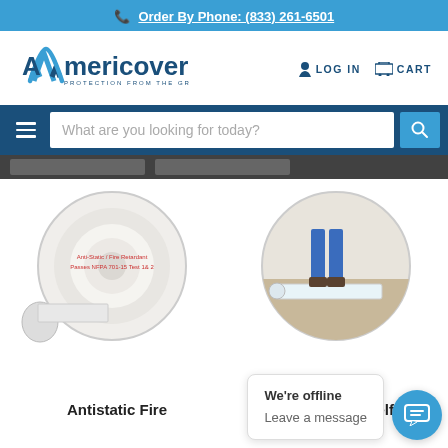Order By Phone: (833) 261-6501
[Figure (logo): Americover logo with blue 'A' icon and tagline PROTECTION FROM THE GROUND UP]
LOG IN   CART
What are you looking for today?
[Figure (photo): Circular product image of a roll of anti-static fire retardant sheeting with label text: Anti-Static / Fire Retardant, Passes NFPA 701-15 Test 1 & 2]
[Figure (photo): Circular product image showing person rolling out carpet cover self-adhesive film on carpet]
We're offline
Leave a message
Antistatic Fire
Carpet Cover Self